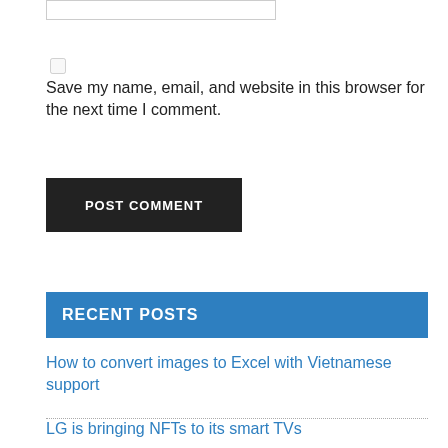Save my name, email, and website in this browser for the next time I comment.
POST COMMENT
RECENT POSTS
How to convert images to Excel with Vietnamese support
LG is bringing NFTs to its smart TVs
Cloudflare blocks Kiwi Farms due to an 'immediate